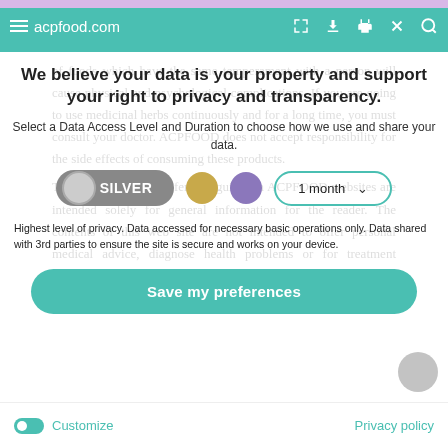acpfood.com
of foods which have the same temperament with a person will cause physical and psychological complications. If you are going to use medicinal herbs continuously and for a long time, you must consult your doctor. ACPFOOD does not accept responsibility for the side effects of consuming these products.
We believe your data is your property and support your right to privacy and transparency.
Select a Data Access Level and Duration to choose how we use and share your data.
[Figure (infographic): Privacy level selector with SILVER button (toggle), gold dot, purple dot, and 1 month duration dropdown with teal border]
Highest level of privacy. Data accessed for necessary basic operations only. Data shared with 3rd parties to ensure the site is secure and works on your device.
The information and reference guides in ACPFOOD websites are intended solely for general information for the reader. The contents of this web site are not intended to offer personal medical advice, diagnose health problems or for treatment purposes.
[Figure (infographic): Save my preferences teal rounded button]
It is not a substitute for medical care provided by a licensed and qualified health
Customize  Privacy policy